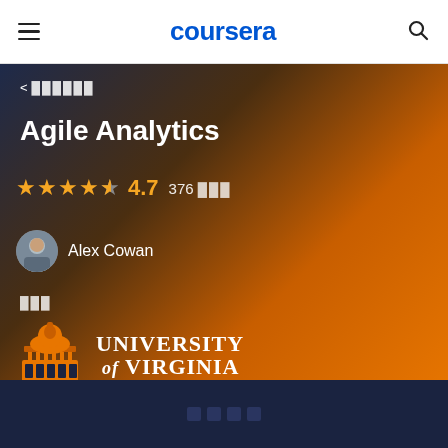coursera
< ██████
Agile Analytics
★★★★½  4.7   376 ███
Alex Cowan
███
[Figure (logo): University of Virginia logo with building icon and serif text reading UNIVERSITY of VIRGINIA]
████